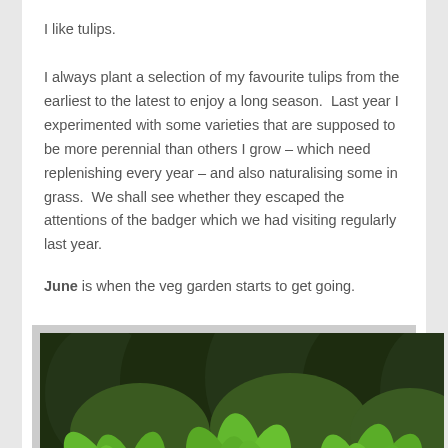I like tulips.
I always plant a selection of my favourite tulips from the earliest to the latest to enjoy a long season.  Last year I experimented with some varieties that are supposed to be more perennial than others I grow – which need replenishing every year – and also naturalising some in grass.  We shall see whether they escaped the attentions of the badger which we had visiting regularly last year.
June is when the veg garden starts to get going.
[Figure (photo): A garden photo showing large-leafed green plants (possibly artichoke or similar brassica) with dark forest/trees in the background. Plants are lush and green, some with purple-tinged lower stems/flowers.]